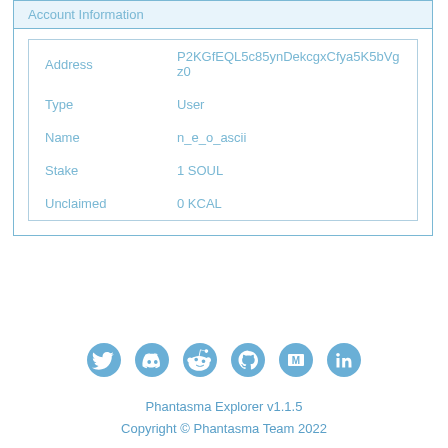Account Information
| Field | Value |
| --- | --- |
| Address | P2KGfEQL5c85ynDekcgxCfya5K5bVgz0 |
| Type | User |
| Name | n_e_o_ascii |
| Stake | 1 SOUL |
| Unclaimed | 0 KCAL |
[Figure (infographic): Social media icons row: Twitter, Discord, Reddit, GitHub, Medium, LinkedIn]
Phantasma Explorer v1.1.5
Copyright © Phantasma Team 2022